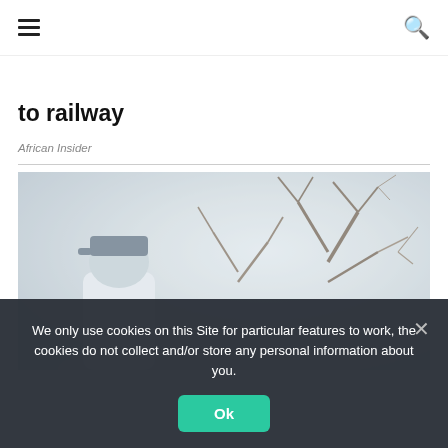navigation header with hamburger menu and search icon
to railway
African Insider
[Figure (photo): Person in white shirt and cap viewed from behind, facing bare winter trees with misty/foggy background]
We only use cookies on this Site for particular features to work, the cookies do not collect and/or store any personal information about you.